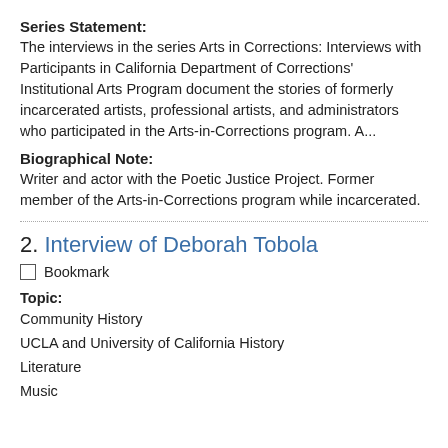Series Statement:
The interviews in the series Arts in Corrections: Interviews with Participants in California Department of Corrections' Institutional Arts Program document the stories of formerly incarcerated artists, professional artists, and administrators who participated in the Arts-in-Corrections program. A...
Biographical Note:
Writer and actor with the Poetic Justice Project. Former member of the Arts-in-Corrections program while incarcerated.
2. Interview of Deborah Tobola
Bookmark
Topic:
Community History
UCLA and University of California History
Literature
Music